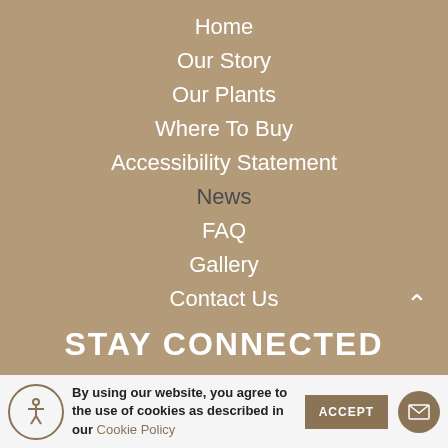Home
Our Story
Our Plants
Where To Buy
Accessibility Statement
News
FAQ
Gallery
Contact Us
STAY CONNECTED
By using our website, you agree to the use of cookies as described in our Cookie Policy
ACCEPT